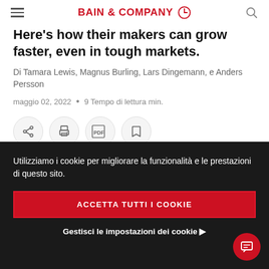BAIN & COMPANY
Here's how their makers can grow faster, even in tough markets.
Di Tamara Lewis, Magnus Burling, Lars Dingemann, e Anders Persson
maggio 02, 2022 • 9 Tempo di lettura min.
[Figure (infographic): Action buttons: share, print, PDF, bookmark]
Utilizziamo i cookie per migliorare la funzionalità e le prestazioni di questo sito.
ACCETTA TUTTI I COOKIE
Gestisci le impostazioni dei cookie ▶